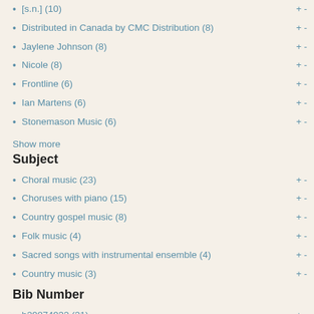[s.n.] (10)
Distributed in Canada by CMC Distribution (8)
Jaylene Johnson (8)
Nicole (8)
Frontline (6)
Ian Martens (6)
Stonemason Music (6)
Show more
Subject
Choral music (23)
Choruses with piano (15)
Country gospel music (8)
Folk music (4)
Sacred songs with instrumental ensemble (4)
Country music (3)
Bib Number
b29874932 (21)
b20667012 (15)
b28853167 (8)